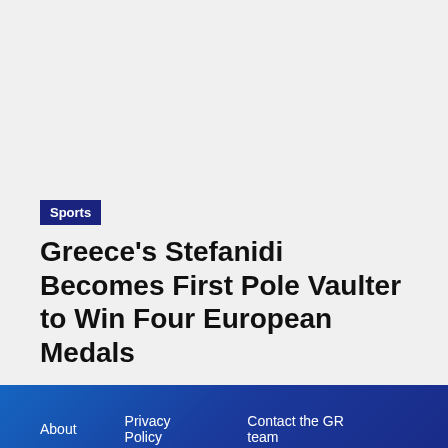Sports
Greece’s Stefanidi Becomes First Pole Vaulter to Win Four European Medals
About   Privacy Policy   Contact the GR team   Greece Survival Guide   Greek Name Days   Watch Greek TV Live   Greek Reporter Preferred Hotels   © Copyright - GreekReporter.com